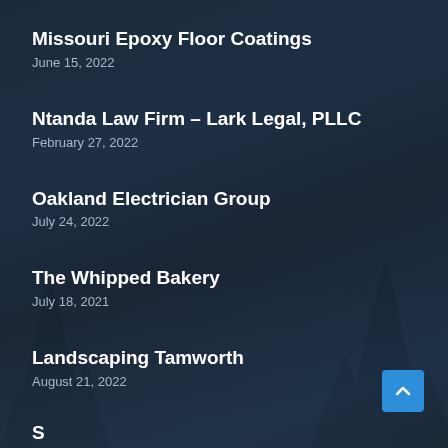Missouri Epoxy Floor Coatings
June 15, 2022
Ntanda Law Firm – Lark Legal, PLLC
February 27, 2022
Oakland Electrician Group
July 24, 2022
The Whipped Bakery
July 18, 2021
Landscaping Tamworth
August 21, 2022
S... Industrial Roofer...